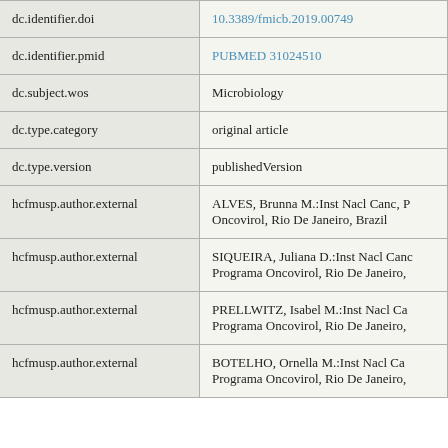| Field | Value |
| --- | --- |
| dc.identifier.doi | 10.3389/fmicb.2019.00749 |
| dc.identifier.pmid | PUBMED 31024510 |
| dc.subject.wos | Microbiology |
| dc.type.category | original article |
| dc.type.version | publishedVersion |
| hcfmusp.author.external | ALVES, Brunna M.:Inst Nacl Canc, Programa Oncovirol, Rio De Janeiro, Brazil |
| hcfmusp.author.external | SIQUEIRA, Juliana D.:Inst Nacl Canc, Programa Oncovirol, Rio De Janeiro, |
| hcfmusp.author.external | PRELLWITZ, Isabel M.:Inst Nacl Canc, Programa Oncovirol, Rio De Janeiro, |
| hcfmusp.author.external | BOTELHO, Ornella M.:Inst Nacl Canc, Programa Oncovirol, Rio De Janeiro, |